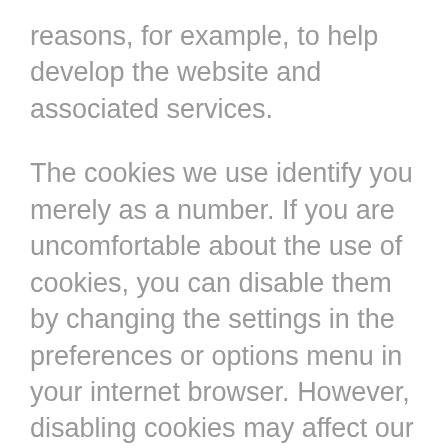reasons, for example, to help develop the website and associated services.
The cookies we use identify you merely as a number. If you are uncomfortable about the use of cookies, you can disable them by changing the settings in the preferences or options menu in your internet browser. However, disabling cookies may affect our ability to provide services to you; if certain cookies are disabled you may not be able to access the service.
We also collect information when you give it to us. For example, you may submit a news article or provide us with details to list your organisation, or you may send us a